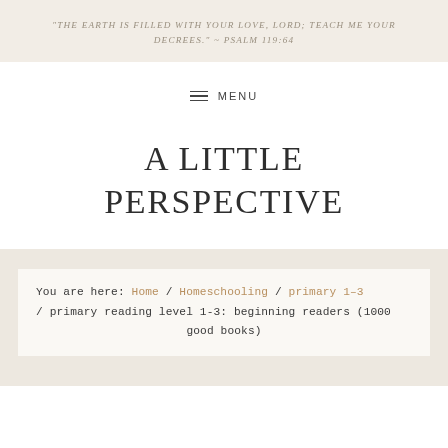"THE EARTH IS FILLED WITH YOUR LOVE, LORD; TEACH ME YOUR DECREES." ~ PSALM 119:64
≡ MENU
A LITTLE PERSPECTIVE
You are here: Home / Homeschooling / primary 1–3 / primary reading level 1-3: beginning readers (1000 good books)